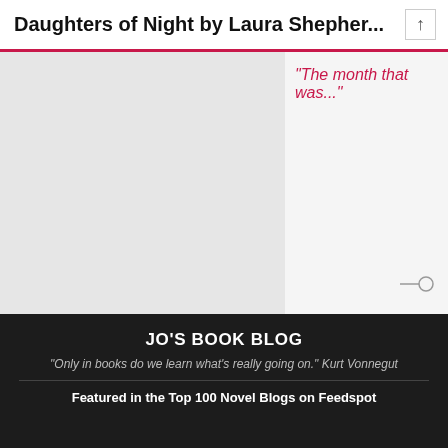Daughters of Night by Laura Shepher...
The month that was...
NEXT ENTRY
This Week in Books – 04-11-20
[Figure (photo): Image of open book pages with 'This Week in Books' banner overlay]
JO'S BOOK BLOG
"Only in books do we learn what's really going on." Kurt Vonnegut
Featured in the Top 100 Novel Blogs on Feedspot